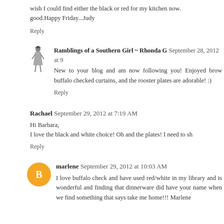wish I could find either the black or red for my kitchen now. good.Happy Friday...Judy
Reply
Ramblings of a Southern Girl ~ Rhonda G September 28, 2012 at 9
New to your blog and am now following you! Enjoyed brow buffalo checked curtains, and the rooster plates are adorable! :)
Reply
Rachael September 29, 2012 at 7:19 AM
Hi Barbara, I love the black and white choice! Oh and the plates! I need to sh
Reply
marlene September 29, 2012 at 10:03 AM
I love buffalo check and have used red/white in my library and is wonderful and finding that dinnerware did have your name when we find something that says take me home!!! Marlene